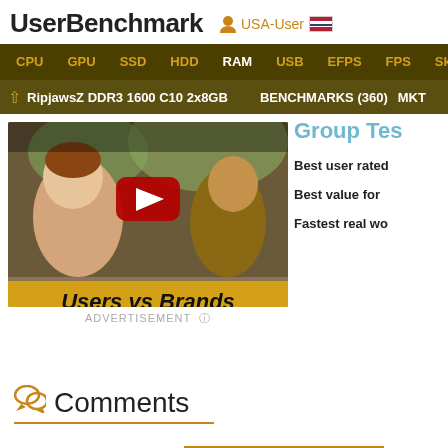UserBenchmark  USA-User
CPU  GPU  SSD  HDD  RAM  USB  EFPS  FPS  Sk
↑ RipjawsZ DDR3 1600 C10 2x8GB   BENCHMARKS (360)   MKT
[Figure (screenshot): YouTube video thumbnail showing animated characters with text 'Users vs Brands' on an orange banner]
ADVERTISEMENT
Group Tes...
Best user rated
Best value for
Fastest real wo
Comments